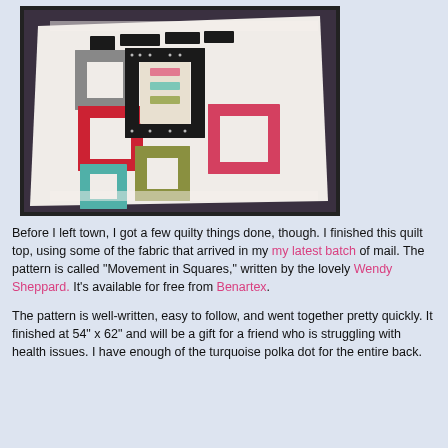[Figure (photo): A quilt top laid flat on a bed, featuring a 'Movement in Squares' pattern with interlocking rectangular frames in black with white polka dots, combined with colored fabrics in red, gray, green, teal, and pink on a white background.]
Before I left town, I got a few quilty things done, though. I finished this quilt top, using some of the fabric that arrived in my my latest batch of mail. The pattern is called "Movement in Squares," written by the lovely Wendy Sheppard. It's available for free from Benartex.
The pattern is well-written, easy to follow, and went together pretty quickly. It finished at 54" x 62" and will be a gift for a friend who is struggling with health issues. I have enough of the turquoise polka dot for the entire back.